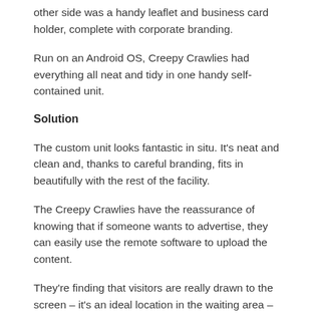other side was a handy leaflet and business card holder, complete with corporate branding.
Run on an Android OS, Creepy Crawlies had everything all neat and tidy in one handy self-contained unit.
Solution
The custom unit looks fantastic in situ. It’s neat and clean and, thanks to careful branding, fits in beautifully with the rest of the facility.
The Creepy Crawlies have the reassurance of knowing that if someone wants to advertise, they can easily use the remote software to upload the content.
They’re finding that visitors are really drawn to the screen – it’s an ideal location in the waiting area – and it’s already delivering a great return on investment.